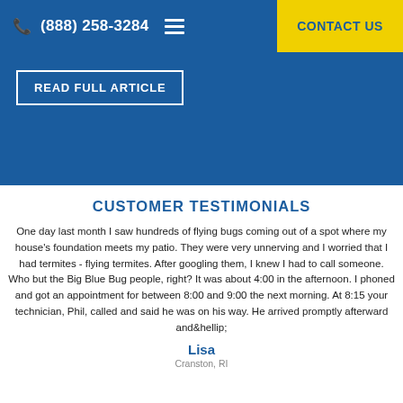(888) 258-3284  CONTACT US
READ FULL ARTICLE
CUSTOMER TESTIMONIALS
One day last month I saw hundreds of flying bugs coming out of a spot where my house's foundation meets my patio. They were very unnerving and I worried that I had termites - flying termites. After googling them, I knew I had to call someone. Who but the Big Blue Bug people, right? It was about 4:00 in the afternoon. I phoned and got an appointment for between 8:00 and 9:00 the next morning. At 8:15 your technician, Phil, called and said he was on his way. He arrived promptly afterward and&hellip;
Lisa
Cranston, RI